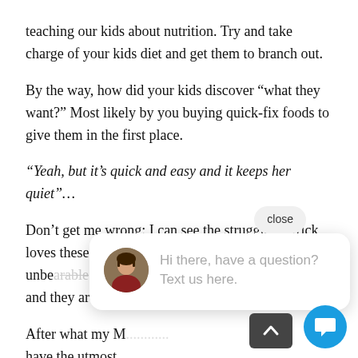teaching our kids about nutrition. Try and take charge of your kids diet and get them to branch out.
By the way, how did your kids discover “what they want?” Most likely by you buying quick-fix foods to give them in the first place.
“Yeah, but it’s quick and easy and it keeps her quiet”…
Don’t get me wrong; I can see the struggle. Patrick loves these puff snacks that are the go to when he is unbearable and they aren’t the best nutrition option.
After what my M... have the utmost r...
However, I do remember things were different when we grew up – You ate what was served or you didn’t eat, remember? I know my Mom was a stickler for this!
So, my advice is to learn to cook healthy alter... and